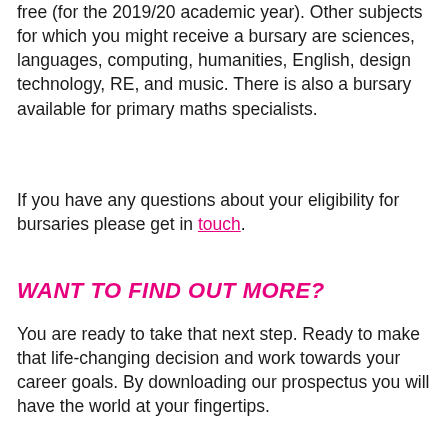free (for the 2019/20 academic year). Other subjects for which you might receive a bursary are sciences, languages, computing, humanities, English, design technology, RE, and music. There is also a bursary available for primary maths specialists.
If you have any questions about your eligibility for bursaries please get in touch.
WANT TO FIND OUT MORE?
You are ready to take that next step. Ready to make that life-changing decision and work towards your career goals. By downloading our prospectus you will have the world at your fingertips.
Here you can...